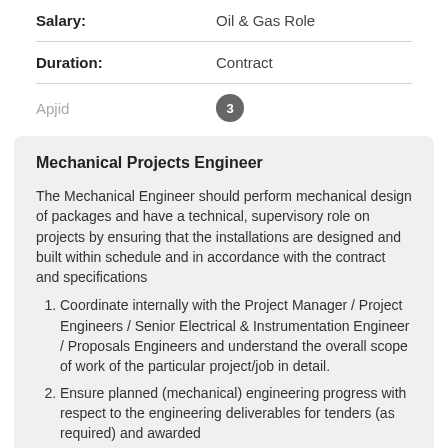| Field | Value |
| --- | --- |
| Salary: | Oil & Gas Role |
| Duration: | Contract |
Apjid  3
Mechanical Projects Engineer
The Mechanical Engineer should perform mechanical design of packages and have a technical, supervisory role on projects by ensuring that the installations are designed and built within schedule and in accordance with the contract and specifications
Coordinate internally with the Project Manager / Project Engineers / Senior Electrical & Instrumentation Engineer / Proposals Engineers and understand the overall scope of work of the particular project/job in detail.
Ensure planned (mechanical) engineering progress with respect to the engineering deliverables for tenders (as required) and awarded